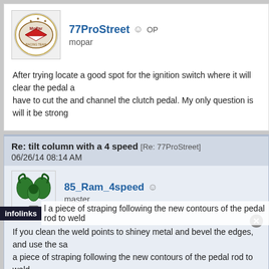77ProStreet OP
mopar
After trying locate a good spot for the ignition switch where it will clear the pedal a have to cut the and channel the clutch pedal. My only question is will it be strong
Re: tilt column with a 4 speed [Re: 77ProStreet]
06/26/14 08:14 AM
85_Ram_4speed
master
If you clean the weld points to shiney metal and bevel the edges, and use the sa a piece of straping following the new contours of the pedal rod to weld